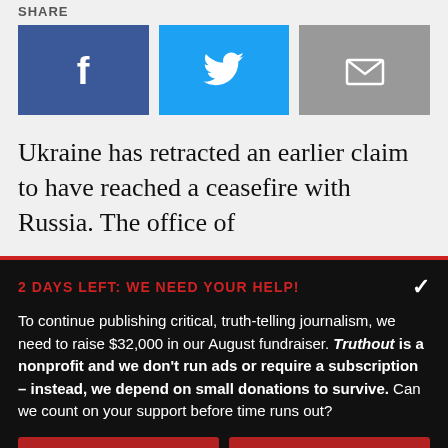SHARE
[Figure (infographic): Three social share buttons: Facebook (blue), Twitter (cyan), and Email (grey) with icons]
Ukraine has retracted an earlier claim to have reached a ceasefire with Russia. The office of
2 DAYS LEFT: WE NEED YOUR HELP!
To continue publishing critical, truth-telling journalism, we need to raise $32,000 in our August fundraiser. Truthout is a nonprofit and we don't run ads or require a subscription – instead, we depend on small donations to survive. Can we count on your support before time runs out?
DONATE
DONATE MONTHLY